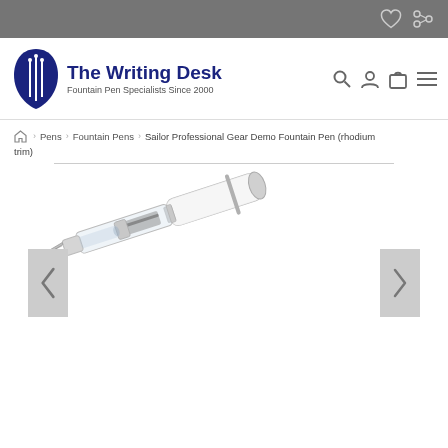The Writing Desk — Fountain Pen Specialists Since 2000
Pens > Fountain Pens > Sailor Professional Gear Demo Fountain Pen (rhodium trim)
[Figure (photo): Sailor Professional Gear Demo Fountain Pen with rhodium trim, shown at a diagonal angle. The pen has a clear/transparent barrel and cap with silver rhodium trim rings and a silver nib visible through the transparent body. Navigation arrows (left and right) are shown on either side of the product image.]